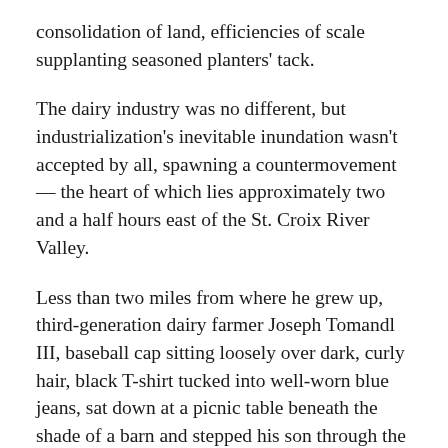consolidation of land, efficiencies of scale supplanting seasoned planters' tack.
The dairy industry was no different, but industrialization's inevitable inundation wasn't accepted by all, spawning a countermovement — the heart of which lies approximately two and a half hours east of the St. Croix River Valley.
Less than two miles from where he grew up, third-generation dairy farmer Joseph Tomandl III, baseball cap sitting loosely over dark, curly hair, black T-shirt tucked into well-worn blue jeans, sat down at a picnic table beneath the shade of a barn and stepped his son through the tasks to finish before lunch.
His family's business shifted from the industrial model in the 1980s toward grazing, a method employing fencing to section off patches of grass for cows to eat rather than feeding them in a